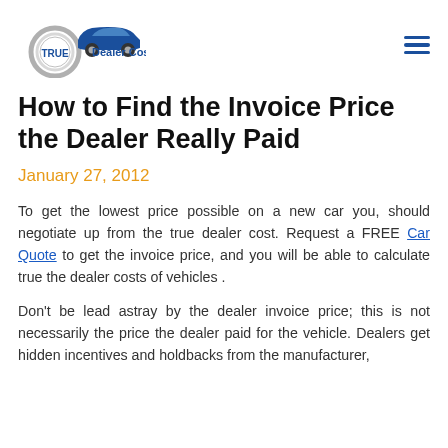[Figure (logo): True Dealer Cost logo with circular chrome emblem and blue car silhouette]
How to Find the Invoice Price the Dealer Really Paid
January 27, 2012
To get the lowest price possible on a new car you, should negotiate up from the true dealer cost. Request a FREE Car Quote to get the invoice price, and you will be able to calculate true the dealer costs of vehicles .
Don't be lead astray by the dealer invoice price; this is not necessarily the price the dealer paid for the vehicle. Dealers get hidden incentives and holdbacks from the manufacturer,